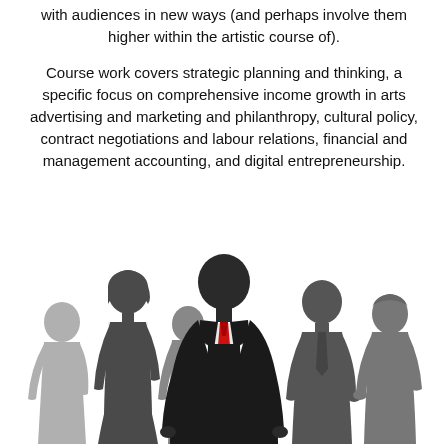with audiences in new ways (and perhaps involve them higher within the artistic course of).
Course work covers strategic planning and thinking, a specific focus on comprehensive income growth in arts advertising and marketing and philanthropy, cultural policy, contract negotiations and labour relations, financial and management accounting, and digital entrepreneurship.
[Figure (illustration): Silhouette illustration of a group of business people walking forward, with a central male figure in a dark suit and red tie prominently in the foreground, surrounded by other silhouetted figures in various shades of grey.]